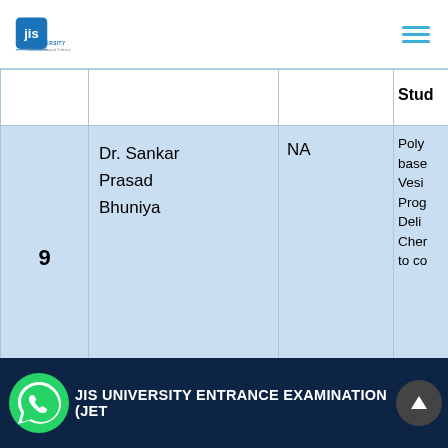JIS University - Education Beyond Ordinary
|  | Name | NA | Stud... |
| --- | --- | --- | --- |
| 9 | Dr. Sankar Prasad Bhuniya | NA | Poly... base... Vesi... Prog... Deli... Cher... to co... |
| 10 | Dr. Sankar... | NA | Dev... |
JIS UNIVERSITY ENTRANCE EXAMINATION (JET)